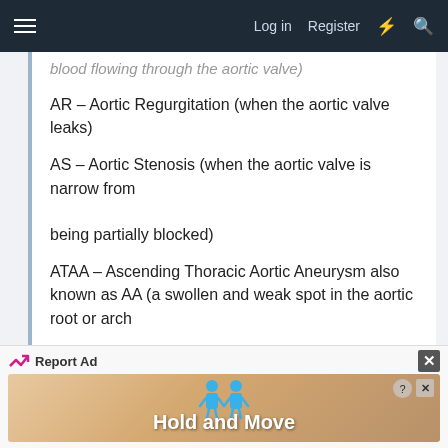Log in  Register
blood flowing through the aortic valve)
AR – Aortic Regurgitation (when the aortic valve leaks)
AS – Aortic Stenosis (when the aortic valve is narrow from being partially blocked)
ATAA – Ascending Thoracic Aortic Aneurysm also known as AA (a swollen and weak spot in the aortic root or arch artery)
AV - Aortic Valve (the last heart valve blood passes through
[Figure (infographic): Advertisement banner showing 'Hold and Move' with cartoon figures and a close button. Report Ad label at top.]